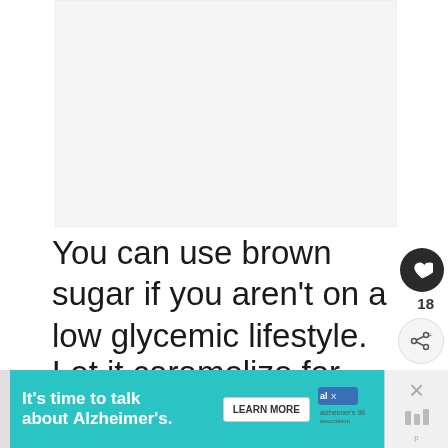[Figure (photo): Light gray image placeholder area at top of page]
You can use brown sugar if you aren't on a low glycemic lifestyle.
Let it caramelize for another minute or so
That's it! Your grilled pineapple is ready to
[Figure (other): Advertisement banner: It's time to talk about Alzheimer's. Learn More button. Alzheimer's Association logo. With close X button.]